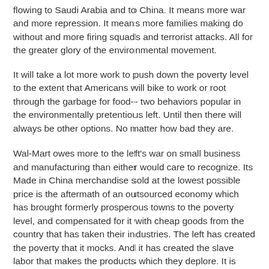flowing to Saudi Arabia and to China. It means more war and more repression. It means more families making do without and more firing squads and terrorist attacks. All for the greater glory of the environmental movement.
It will take a lot more work to push down the poverty level to the extent that Americans will bike to work or root through the garbage for food-- two behaviors popular in the environmentally pretentious left. Until then there will always be other options. No matter how bad they are.
Wal-Mart owes more to the left's war on small business and manufacturing than either would care to recognize. Its Made in China merchandise sold at the lowest possible price is the aftermath of an outsourced economy which has brought formerly prosperous towns to the poverty level, and compensated for it with cheap goods from the country that has taken their industries. The left has created the poverty that it mocks. And it has created the slave labor that makes the products which they deplore. It is responsible for all of it and it should take ownership of it.